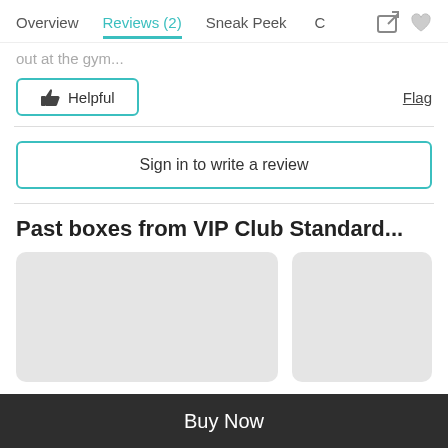Overview  Reviews (2)  Sneak Peek
out at the gym...
👍 Helpful    Flag
Sign in to write a review
Past boxes from VIP Club Standard...
[Figure (other): Two gray placeholder image cards for past subscription boxes]
Buy Now